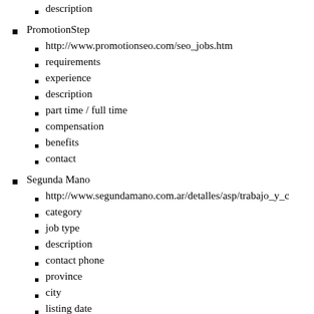description
PromotionStep
http://www.promotionseo.com/seo_jobs.htm
requirements
experience
description
part time / full time
compensation
benefits
contact
Segunda Mano
http://www.segundamano.com.ar/detalles/asp/trabajo_y_c
category
job type
description
contact phone
province
city
listing date
Simply Hired
http://www.simplyhired.com/
title